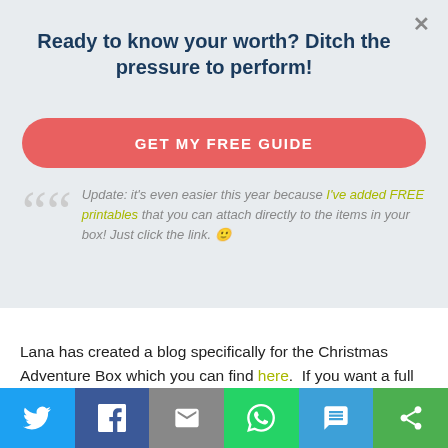Ready to know your worth? Ditch the pressure to perform!
GET MY FREE GUIDE
Update: it's even easier this year because I've added FREE printables that you can attach directly to the items in your box! Just click the link. 🙂
Lana has created a blog specifically for the Christmas Adventure Box which you can find here.  If you want a full 25 day advent list, then I recommend visiting her site.  It's very detailed and even has a lesson plan type of format that would